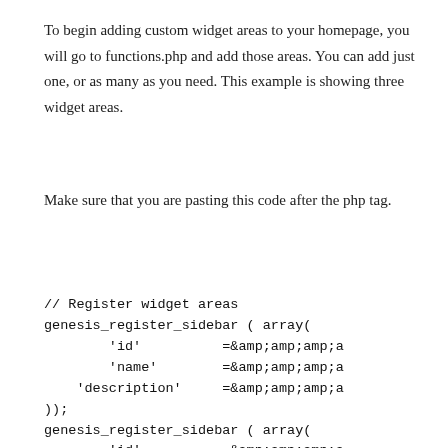To begin adding custom widget areas to your homepage, you will go to functions.php and add those areas. You can add just one, or as many as you need. This example is showing three widget areas.
Make sure that you are pasting this code after the php tag.
// Register widget areas
genesis_register_sidebar ( array(
        'id'          =&amp;amp;amp;amp;a
        'name'        =&amp;amp;amp;amp;a
    'description'     =&amp;amp;amp;amp;a
));
genesis_register_sidebar ( array(
        'id'          =&amp;amp;amp;amp;a
        'name'        =&amp;amp;amp;amp;a